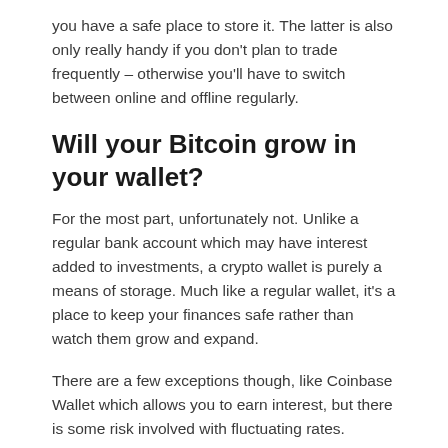you have a safe place to store it. The latter is also only really handy if you don't plan to trade frequently – otherwise you'll have to switch between online and offline regularly.
Will your Bitcoin grow in your wallet?
For the most part, unfortunately not. Unlike a regular bank account which may have interest added to investments, a crypto wallet is purely a means of storage. Much like a regular wallet, it's a place to keep your finances safe rather than watch them grow and expand.
There are a few exceptions though, like Coinbase Wallet which allows you to earn interest, but there is some risk involved with fluctuating rates.
What is the best crypto wallet?